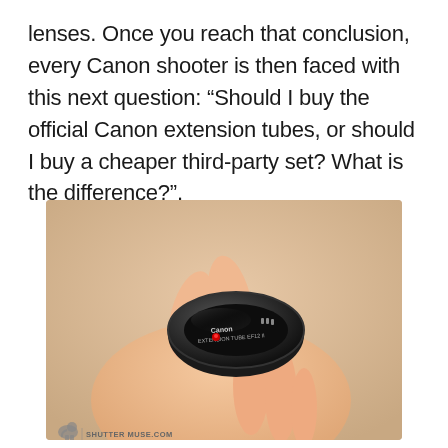lenses. Once you reach that conclusion, every Canon shooter is then faced with this next question: “Should I buy the official Canon extension tubes, or should I buy a cheaper third-party set? What is the difference?”.
[Figure (photo): A Canon Extension Tube EF12 II held in a person’s open hand against a light wood background. The black ring-shaped extension tube is visible with the Canon logo and red alignment dot. A watermark reading SHUTTER MUSE.COM with an elephant logo appears at the bottom left.]